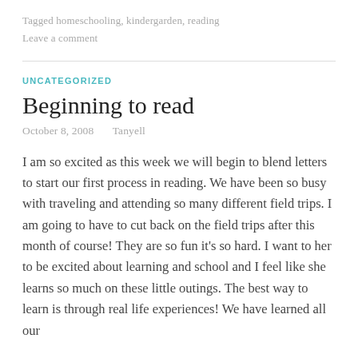Tagged homeschooling, kindergarden, reading
Leave a comment
UNCATEGORIZED
Beginning to read
October 8, 2008   Tanyell
I am so excited as this week we will begin to blend letters to start our first process in reading. We have been so busy with traveling and attending so many different field trips. I am going to have to cut back on the field trips after this month of course! They are so fun it's so hard. I want to her to be excited about learning and school and I feel like she learns so much on these little outings. The best way to learn is through real life experiences! We have learned all our